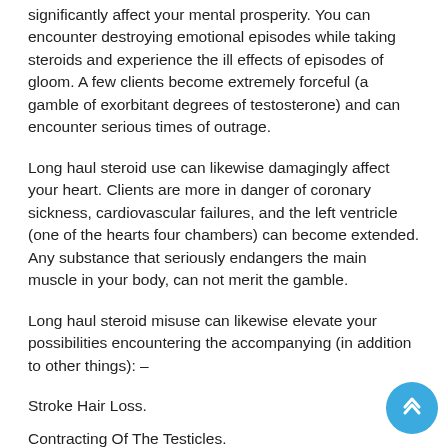significantly affect your mental prosperity. You can encounter destroying emotional episodes while taking steroids and experience the ill effects of episodes of gloom. A few clients become extremely forceful (a gamble of exorbitant degrees of testosterone) and can encounter serious times of outrage.
Long haul steroid use can likewise damagingly affect your heart. Clients are more in danger of coronary sickness, cardiovascular failures, and the left ventricle (one of the hearts four chambers) can become extended. Any substance that seriously endangers the main muscle in your body, can not merit the gamble.
Long haul steroid misuse can likewise elevate your possibilities encountering the accompanying (in addition to other things): –
Stroke Hair Loss.
Contracting Of The Testicles.
Hypertension.
More elevated Levels Of Cholesterol.